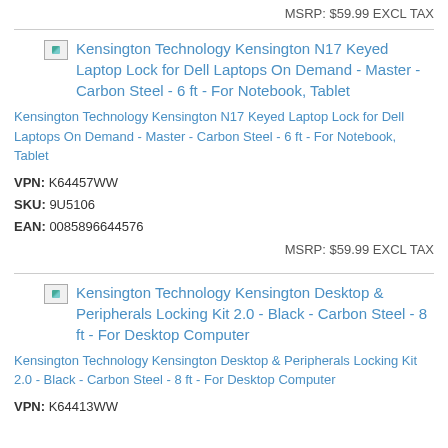MSRP: $59.99 EXCL TAX
[Figure (photo): Broken image placeholder for Kensington N17 Keyed Laptop Lock product]
Kensington Technology Kensington N17 Keyed Laptop Lock for Dell Laptops On Demand - Master - Carbon Steel - 6 ft - For Notebook, Tablet
Kensington Technology Kensington N17 Keyed Laptop Lock for Dell Laptops On Demand - Master - Carbon Steel - 6 ft - For Notebook, Tablet
VPN: K64457WW
SKU: 9U5106
EAN: 0085896644576
MSRP: $59.99 EXCL TAX
[Figure (photo): Broken image placeholder for Kensington Desktop & Peripherals Locking Kit 2.0 product]
Kensington Technology Kensington Desktop & Peripherals Locking Kit 2.0 - Black - Carbon Steel - 8 ft - For Desktop Computer
Kensington Technology Kensington Desktop & Peripherals Locking Kit 2.0 - Black - Carbon Steel - 8 ft - For Desktop Computer
VPN: K64413WW